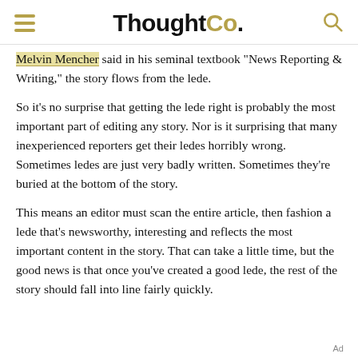ThoughtCo.
Melvin Mencher said in his seminal textbook "News Reporting & Writing," the story flows from the lede.
So it's no surprise that getting the lede right is probably the most important part of editing any story. Nor is it surprising that many inexperienced reporters get their ledes horribly wrong. Sometimes ledes are just very badly written. Sometimes they're buried at the bottom of the story.
This means an editor must scan the entire article, then fashion a lede that's newsworthy, interesting and reflects the most important content in the story. That can take a little time, but the good news is that once you've created a good lede, the rest of the story should fall into line fairly quickly.
Ad